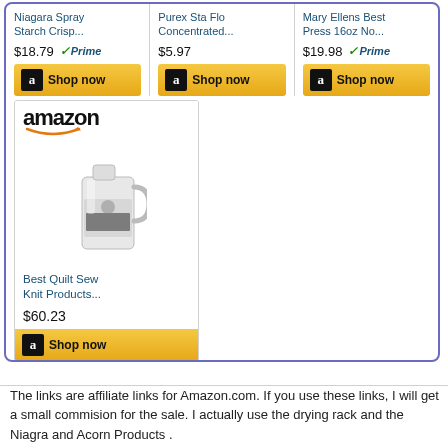[Figure (screenshot): Amazon affiliate product widget showing 3 product cards in top row: 'Niagara Spray Starch Crisp...' at $18.79 with Prime badge, 'Purex Sta Flo Concentrated...' at $5.97, 'Mary Ellens Best Press 16oz No...' at $19.98 with Prime badge, each with 'Shop now' buttons. Below is a single Amazon-branded card for 'Best Quilt Sew Knit Products...' at $60.23 with product jug image and Shop now button.]
The links are affiliate links for Amazon.com. If you use these links, I will get a small commision for the sale. I actually use the drying rack and the Niagra and Acorn Products .